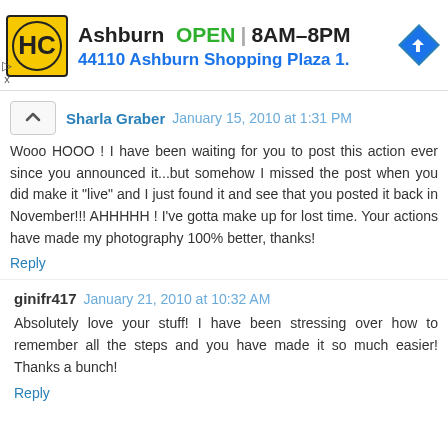[Figure (screenshot): Advertisement banner for HC store in Ashburn, showing logo, open status, hours 8AM-8PM, address 44110 Ashburn Shopping Plaza 1., and navigation icon]
Sharla Graber  January 15, 2010 at 1:31 PM
Wooo HOOO ! I have been waiting for you to post this action ever since you announced it...but somehow I missed the post when you did make it "live" and I just found it and see that you posted it back in November!!! AHHHHH ! I've gotta make up for lost time. Your actions have made my photography 100% better, thanks!
Reply
ginifr417  January 21, 2010 at 10:32 AM
Absolutely love your stuff! I have been stressing over how to remember all the steps and you have made it so much easier! Thanks a bunch!
Reply